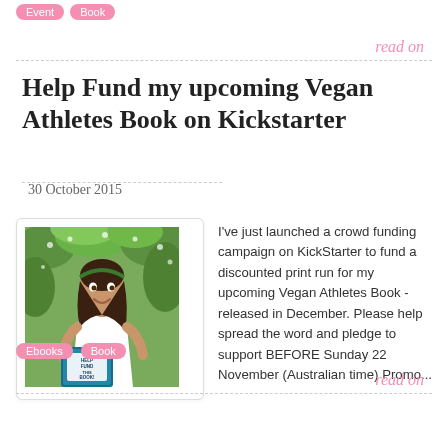Event  Book
read on
Help Fund my upcoming Vegan Athletes Book on Kickstarter
30 October 2015
[Figure (photo): Woman holding a book that says 'Help Fund This Book' standing outdoors with greenery in background]
I've just launched a crowd funding campaign on KickStarter to fund a discounted print run for my upcoming Vegan Athletes Book - released in December. Please help spread the word and pledge to support BEFORE Sunday 22 November (Australian time) Promo...
Ebooks  Book
read on